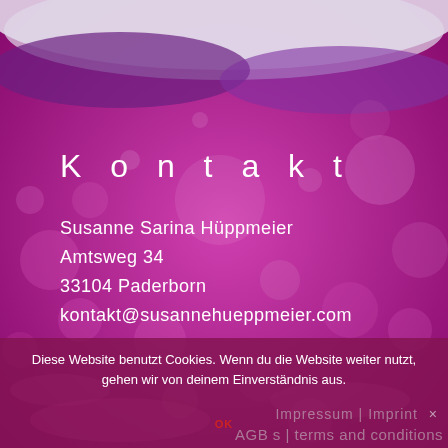[Figure (photo): Bokeh purple and pink background with blurred light circles, slight white at top edge suggesting torn paper or mist effect.]
K o n t a k t
Susanne Sarina Hüppmeier
Amtsweg 34
33104 Paderborn
kontakt@susannehueppmeier.com
Diese Website benutzt Cookies. Wenn du die Website weiter nutzt, gehen wir von deinem Einverständnis aus.
Impressum | Imprint  ×
OK
AGB s | terms and conditions